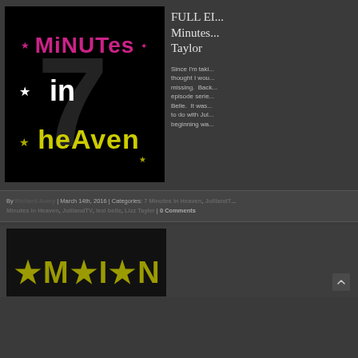[Figure (photo): 7 Minutes in Heaven logo on black background — pink stylized 'MiNUTes' at top, white 'in' in middle with star, yellow 'heAven' at bottom with star, large gray 7 in background]
FULL EP... Minutes... Taylor
Since I'm taki... thought I wou... missing. Back... episode serie... Belle. It was... to do with Jul... beginning wa...
By Richard Avery | March 14th, 2016 | Categories: 7 Minutes in Heaven, JulilandT... Minutes in Heaven, JulilandTV, lexi belle, Lizz Tayler | 0 Comments
[Figure (photo): Partial view of a second article thumbnail at the bottom of the page, appears to show another logo or image]